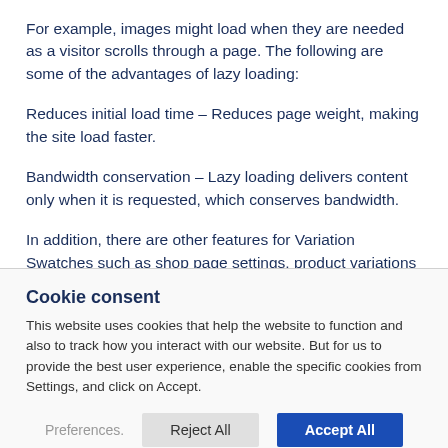For example, images might load when they are needed as a visitor scrolls through a page. The following are some of the advantages of lazy loading:
Reduces initial load time – Reduces page weight, making the site load faster.
Bandwidth conservation – Lazy loading delivers content only when it is requested, which conserves bandwidth.
In addition, there are other features for Variation Swatches such as shop page settings, product variations via URL, swatch styling, and
Cookie consent
This website uses cookies that help the website to function and also to track how you interact with our website. But for us to provide the best user experience, enable the specific cookies from Settings, and click on Accept.